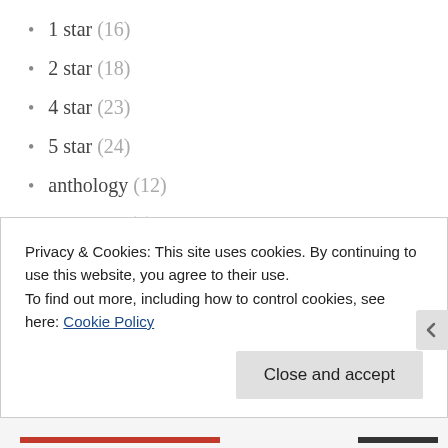1 star (16)
2 star (18)
4 star (23)
5 star (24)
anthology (12)
Author X (2)
big house (37)
Blurb Doctor (4)
Boardgame (3)
Bookends (4)
Classic (21)
Privacy & Cookies: This site uses cookies. By continuing to use this website, you agree to their use. To find out more, including how to control cookies, see here: Cookie Policy
Close and accept